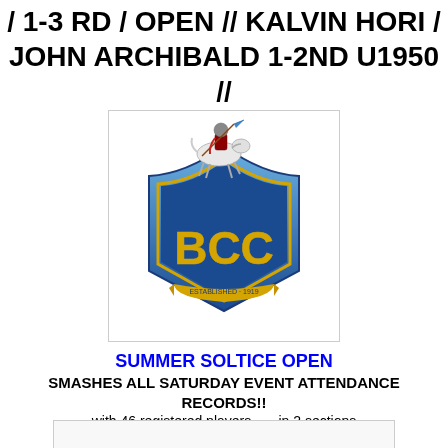/ 1-3 RD / OPEN // KALVIN HORI / JOHN ARCHIBALD 1-2ND U1950 //
[Figure (logo): BCC club crest/logo featuring a knight on horseback holding a lance with a blue pennant, shield with BCC letters in blue and gold, established 1919 banner]
SUMMER SOLTICE OPEN
SMASHES ALL SATURDAY EVENT ATTENDANCE RECORDS!!
with 46 registered players . . . in 2 sections
FULL HOUSE!!
[Figure (photo): Partially visible image at bottom of page]